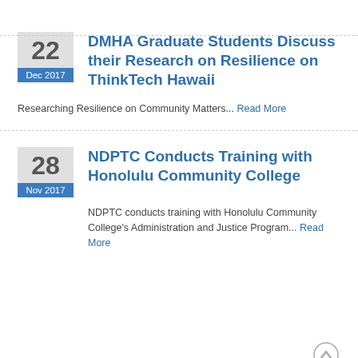DMHA Graduate Students Discuss their Research on Resilience on ThinkTech Hawaii
Researching Resilience on Community Matters... Read More
NDPTC Conducts Training with Honolulu Community College
NDPTC conducts training with Honolulu Community College's Administration and Justice Program... Read More